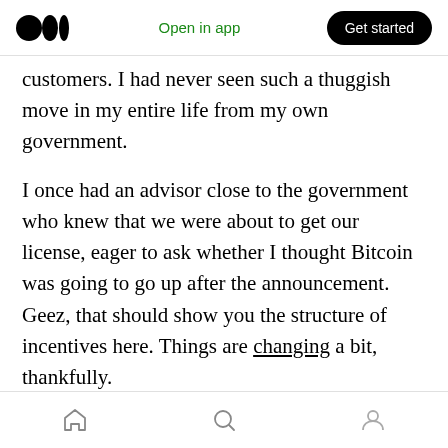Open in app | Get started
customers. I had never seen such a thuggish move in my entire life from my own government.
I once had an advisor close to the government who knew that we were about to get our license, eager to ask whether I thought Bitcoin was going to go up after the announcement. Geez, that should show you the structure of incentives here. Things are changing a bit, thankfully.
What surprised me the most is the regulators had well funded, sophisticated “PR” teams that essentially have the writ to plant stories about
Home | Search | Profile